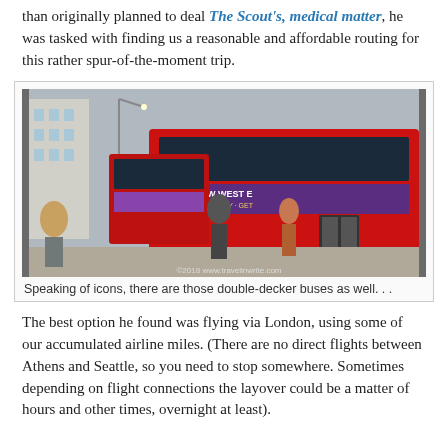than originally planned to deal The Scout's, medical matter, he was tasked with finding us a reasonable and affordable routing for this rather spur-of-the-moment trip.
[Figure (photo): A street scene in London showing red double-decker buses in a row along a city sidewalk. People are visible on the pavement. A purple advertisement reading 'THE NEW WEST E... OPENS THIS MAY · GET' is visible on the side of one bus. Watermark reads ©2018 www.travelinwrite.com]
Speaking of icons, there are those double-decker buses as well. . .
The best option he found was flying via London, using some of our accumulated airline miles. (There are no direct flights between Athens and Seattle, so you need to stop somewhere. Sometimes depending on flight connections the layover could be a matter of hours and other times, overnight at least).